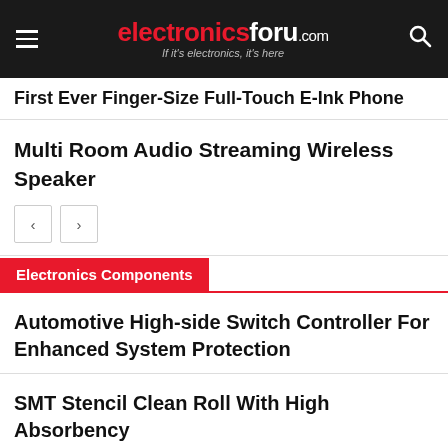electronicsforu.com — If it's electronics, it's here
First Ever Finger-Size Full-Touch E-Ink Phone
Multi Room Audio Streaming Wireless Speaker
Electronics Components
Automotive High-side Switch Controller For Enhanced System Protection
SMT Stencil Clean Roll With High Absorbency
Agosti
[Figure (infographic): Advertisement banner: Build on your proficiency, with Mouser Electronics logo and person with electronics components]